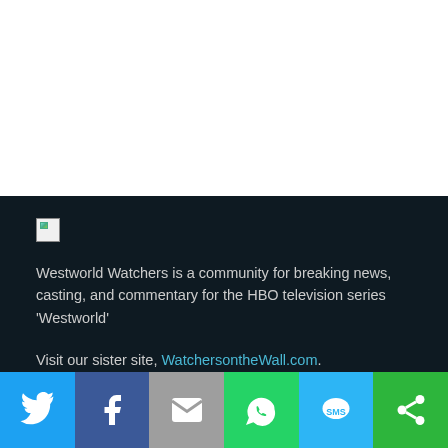[Figure (other): White blank area at top of page]
[Figure (photo): Broken/missing image icon (small thumbnail placeholder)]
Westworld Watchers is a community for breaking news, casting, and commentary for the HBO television series 'Westworld'
Visit our sister site, WatchersontheWall.com.
[Figure (infographic): Social share bar with icons: Twitter (blue), Facebook (dark blue), Email (grey), WhatsApp (green), SMS (light blue), More (green)]